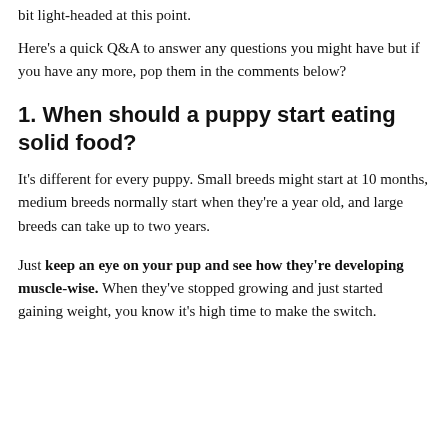bit light-headed at this point.
Here's a quick Q&A to answer any questions you might have but if you have any more, pop them in the comments below?
1. When should a puppy start eating solid food?
It's different for every puppy. Small breeds might start at 10 months, medium breeds normally start when they're a year old, and large breeds can take up to two years.
Just keep an eye on your pup and see how they're developing muscle-wise. When they've stopped growing and just started gaining weight, you know it's high time to make the switch.